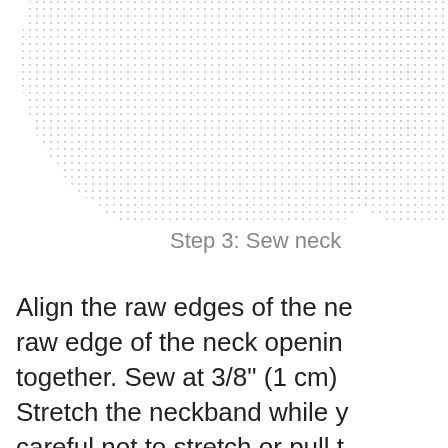[Figure (illustration): Two dotted/stippled fabric pattern pieces partially visible at the top of the page — a larger bell/rounded shape on the left and a partial shape on the right, both in light grey dot pattern on white background, representing neckband sewing pattern pieces.]
Step 3: Sew neck
Align the raw edges of the ne raw edge of the neck openin together. Sew at 3/8" (1 cm) Stretch the neckband while y careful not to stretch or pull t